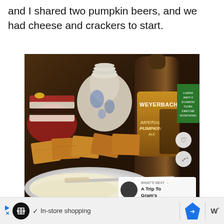and I shared two pumpkin beers, and we had cheese and crackers to start.
[Figure (photo): Photo of a Weyerbacher Imperial Pumpkin Ale beer bottle next to cheese, crackers on a plate, and decorative items on a wooden table. Overlay shows 'What's Next: A Trip To Gram's' panel.]
In-store shopping